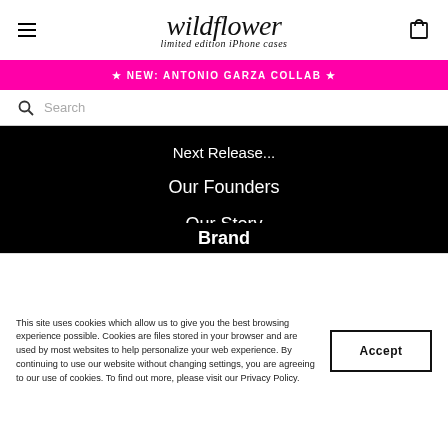wildflower limited edition iPhone cases
★ NEW: ANTONIO GARZA COLLAB ★
Search
Next Release...
Our Founders
Our Story
Press
Brand
This site uses cookies which allow us to give you the best browsing experience possible. Cookies are files stored in your browser and are used by most websites to help personalize your web experience. By continuing to use our website without changing settings, you are agreeing to our use of cookies. To find out more, please visit our Privacy Policy.